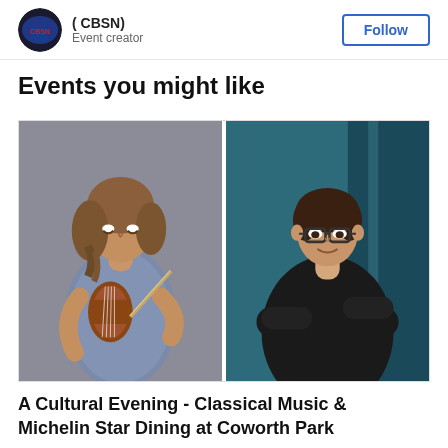( CBSN ) Event creator
Events you might like
[Figure (photo): Two side-by-side photos: left shows a young woman playing violin against a grey background; right shows a man with glasses wearing a black shirt, arms crossed, against a blue background.]
A Cultural Evening - Classical Music & Michelin Star Dining at Coworth Park